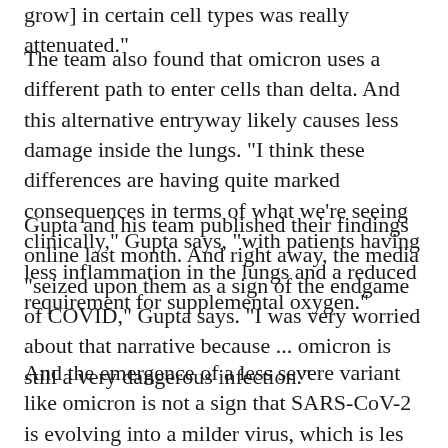grow] in certain cell types was really attenuated."
The team also found that omicron uses a different path to enter cells than delta. And this alternative entryway likely causes less damage inside the lungs. "I think these differences are having quite marked consequences in terms of what we're seeing clinically," Gupta says, "with patients having less inflammation in the lungs and a reduced requirement for supplemental oxygen."
Gupta and his team published their findings online last month. And right away, the media "seized upon them as a sign of the endgame of COVID," Gupta says. "I was very worried about that narrative because ... omicron is still a very dangerous infection."
And the emergence of a less severe variant like omicron is not a sign that SARS-CoV-2 is evolving into a milder virus, which is less likely to affect the lungs.